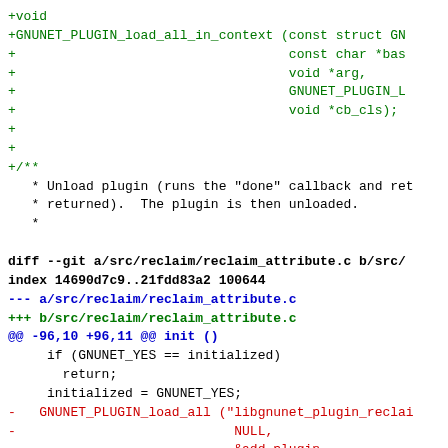Diff output showing changes to GNUNET plugin source files, including +void +GNUNET_PLUGIN_load_all_in_context additions and changes to reclaim_attribute.c replacing GNUNET_PLUGIN_load_all with GNUNET_PLUGIN_load_all_in_context.